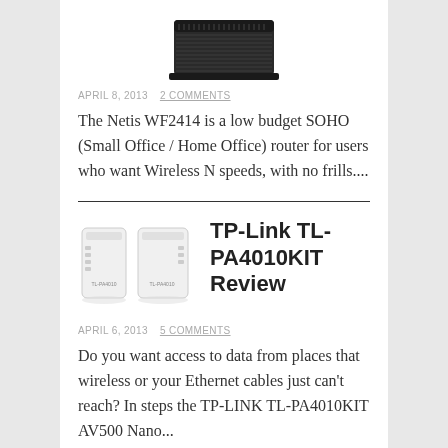[Figure (photo): Top portion of a black wireless router with antennas, partially cropped at the top of the page]
APRIL 8, 2013   2 COMMENTS
The Netis WF2414 is a low budget SOHO (Small Office / Home Office) router for users who want Wireless N speeds, with no frills....
[Figure (photo): TP-Link TL-PA4010KIT powerline adapter kit, showing two small white rectangular powerline adapters side by side]
TP-Link TL-PA4010KIT Review
APRIL 6, 2013   5 COMMENTS
Do you want access to data from places that wireless or your Ethernet cables just can't reach? In steps the TP-LINK TL-PA4010KIT AV500 Nano...